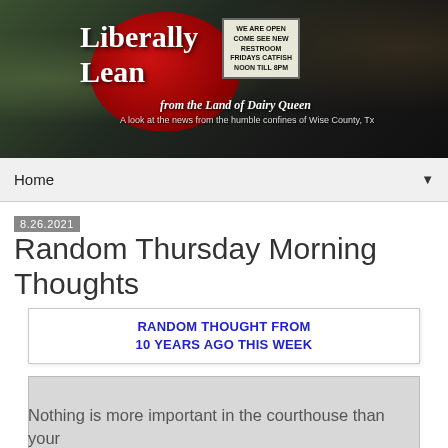[Figure (illustration): Liberally Lean from the Land of Dairy Queen blog header banner with red lip logo, outdoor sign reading 'WE ARE OPEN COME SEE NEW RESTROOM FRIDAYS CATFISH NOON TILL 8PM', and courthouse photo]
Home ▼
8.26.2021
Random Thursday Morning Thoughts
[Figure (infographic): Box with text: RANDOM THOUGHT FROM 10 YEARS AGO THIS WEEK]
[Figure (other): Gray content placeholder box]
Nothing is more important in the courthouse than your credibility. That comes from